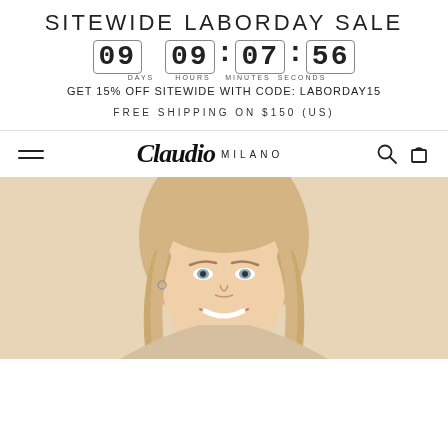SITEWIDE LABORDAY SALE
09  09:07:56
DAYS  HOURS  MINUTES  SECONDS
GET 15% OFF SITEWIDE WITH CODE: LABORDAY15
FREE SHIPPING ON $150 (US)
[Figure (screenshot): Navigation bar with hamburger menu on left, Claudio Milano script logo in center, search and cart icons on right]
[Figure (photo): Blonde smiling woman on a beige/cream background, fashion model photo]